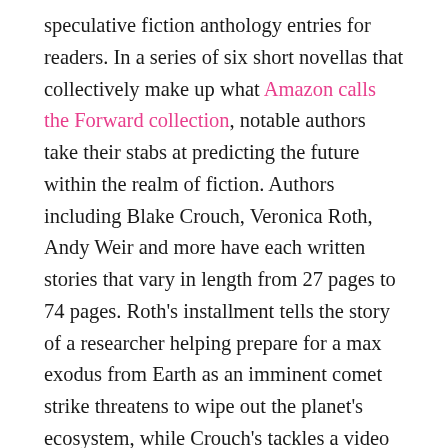speculative fiction anthology entries for readers. In a series of six short novellas that collectively make up what Amazon calls the Forward collection, notable authors take their stabs at predicting the future within the realm of fiction. Authors including Blake Crouch, Veronica Roth, Andy Weir and more have each written stories that vary in length from 27 pages to 74 pages. Roth's installment tells the story of a researcher helping prepare for a max exodus from Earth as an imminent comet strike threatens to wipe out the planet's ecosystem, while Crouch's tackles a video game developer who grows obsessed with one of her characters. Each of the six stories can be easily digested in one sitting, much like an episode of Black Mirror, and Amazon even offers audiobook versions so you can listen to them on a run or bike ride.